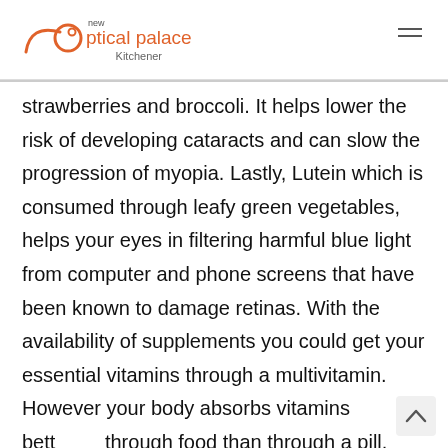new optical palace Kitchener
strawberries and broccoli. It helps lower the risk of developing cataracts and can slow the progression of myopia. Lastly, Lutein which is consumed through leafy green vegetables, helps your eyes in filtering harmful blue light from computer and phone screens that have been known to damage retinas. With the availability of supplements you could get your essential vitamins through a multivitamin. However your body absorbs vitamins bett through food than through a pill.